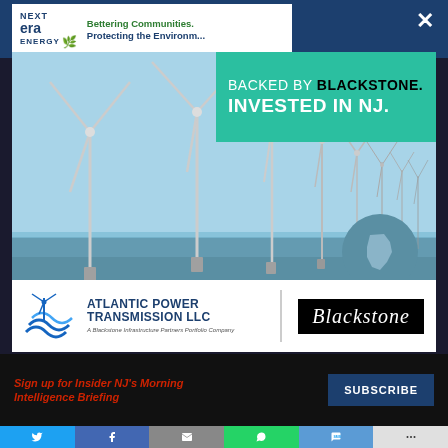[Figure (screenshot): Top dark blue browser/page header bar with NextEra Energy ad banner partially visible and a white X close button in top right]
[Figure (infographic): Advertisement for Atlantic Power Transmission LLC backed by Blackstone. Shows offshore wind turbines against blue sky and ocean. Teal overlay text reads BACKED BY BLACKSTONE. INVESTED IN NJ. with NJ state shape in circle. Bottom logo bar shows Atlantic Power Transmission LLC and Blackstone logos.]
Sign up for Insider NJ's Morning Intelligence Briefing
SUBSCRIBE
[Figure (infographic): Social sharing bar with Twitter, Facebook, Email, WhatsApp, SMS, and More icons]